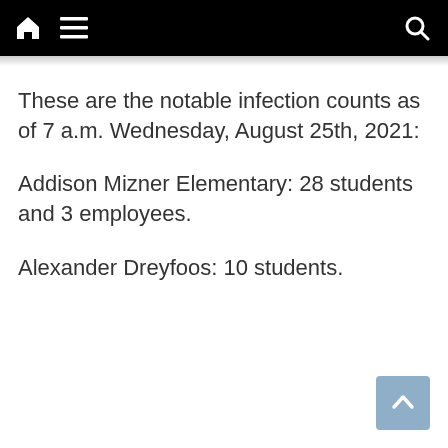Navigation bar with home, menu, and search icons
These are the notable infection counts as of 7 a.m. Wednesday, August 25th, 2021:
Addison Mizner Elementary: 28 students and 3 employees.
Alexander Dreyfoos: 10 students.